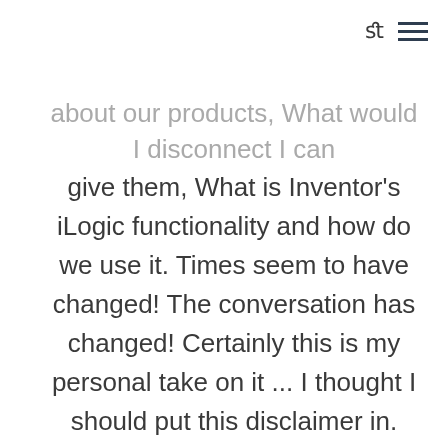search menu
about our products, What would I disconnect I can give them, What is Inventor's iLogic functionality and how do we use it. Times seem to have changed! The conversation has changed! Certainly this is my personal take on it ... I thought I should put this disclaimer in.